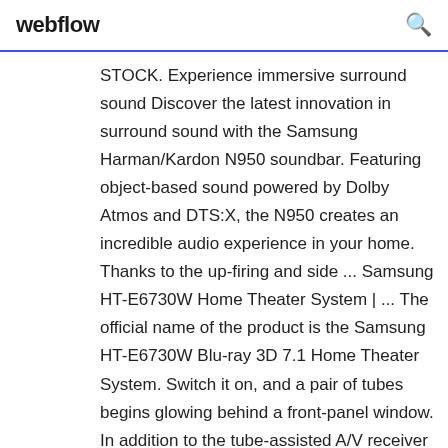webflow
STOCK. Experience immersive surround sound Discover the latest innovation in surround sound with the Samsung Harman/Kardon N950 soundbar. Featuring object-based sound powered by Dolby Atmos and DTS:X, the N950 creates an incredible audio experience in your home. Thanks to the up-firing and side ... Samsung HT-E6730W Home Theater System | ... The official name of the product is the Samsung HT-E6730W Blu-ray 3D 7.1 Home Theater System. Switch it on, and a pair of tubes begins glowing behind a front-panel window. In addition to the tube-assisted A/V receiver and Blu-ray player built into a single low-rise chassis, it also includes two tower